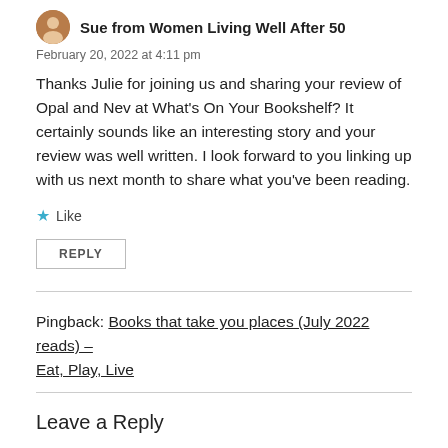Sue from Women Living Well After 50
February 20, 2022 at 4:11 pm
Thanks Julie for joining us and sharing your review of Opal and Nev at What's On Your Bookshelf? It certainly sounds like an interesting story and your review was well written. I look forward to you linking up with us next month to share what you've been reading.
Like
REPLY
Pingback: Books that take you places (July 2022 reads) – Eat, Play, Live
Leave a Reply